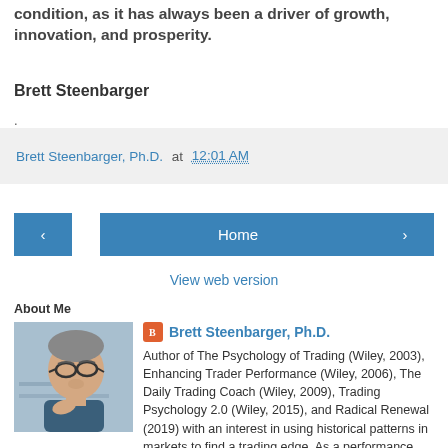condition, as it has always been a driver of growth, innovation, and prosperity.
Brett Steenbarger
.
Brett Steenbarger, Ph.D. at 12:01 AM
Home
View web version
About Me
[Figure (photo): Photo of Brett Steenbarger, a man with glasses]
Brett Steenbarger, Ph.D.
Author of The Psychology of Trading (Wiley, 2003), Enhancing Trader Performance (Wiley, 2006), The Daily Trading Coach (Wiley, 2009), Trading Psychology 2.0 (Wiley, 2015), and Radical Renewal (2019) with an interest in using historical patterns in markets to find a trading edge. As a performance coach for portfolio managers and